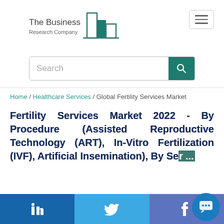[Figure (logo): The Business Research Company logo with bar chart icon and company name]
[Figure (other): Hamburger menu button (three horizontal lines) in a rounded rectangle]
[Figure (other): Search bar with text 'Search' and a teal search button with magnifying glass icon]
Home / Healthcare Services / Global Fertility Services Market
Fertility Services Market 2022 - By Procedure (Assisted Reproductive Technology (ART), In-Vitro Fertilization (IVF), Artificial Insemination), By Se...
[Figure (other): Social media share bar with LinkedIn, Twitter, and Facebook buttons, and a chat bubble button]